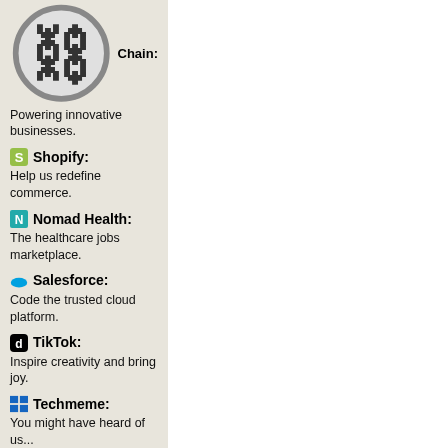Chain: Powering innovative businesses.
Shopify: Help us redefine commerce.
Nomad Health: The healthcare jobs marketplace.
Salesforce: Code the trusted cloud platform.
TikTok: Inspire creativity and bring joy.
Techmeme: You might have heard of us...
Add your company here